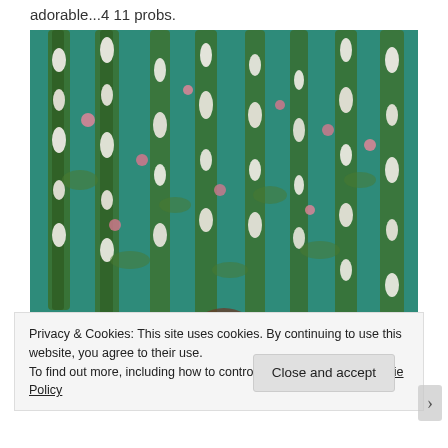adorable...4 11 probs.
[Figure (photo): Photo of hanging floral garlands with white flowers, pink roses, and green ivy/leaves against a teal/green background. A person's head is barely visible at the bottom center.]
Privacy & Cookies: This site uses cookies. By continuing to use this website, you agree to their use.
To find out more, including how to control cookies, see here: Cookie Policy
Close and accept